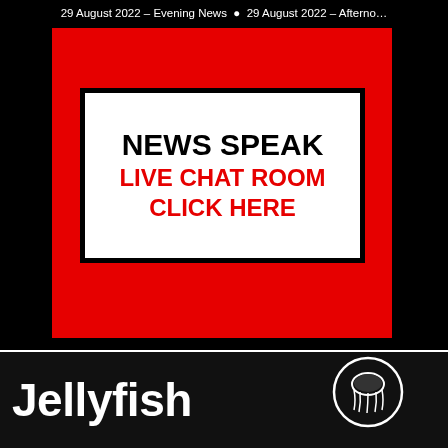29 August 2022 – Evening News  •  29 August 2022 – Afternoon News
[Figure (illustration): Red square banner containing a white box with bold black text 'NEWS SPEAK' and red bold text 'LIVE CHAT ROOM' and 'CLICK HERE' on a black page background]
[Figure (logo): Jellyfish News logo: large bold white text 'Jellyfish' with a circular jellyfish icon to the right, on black background]